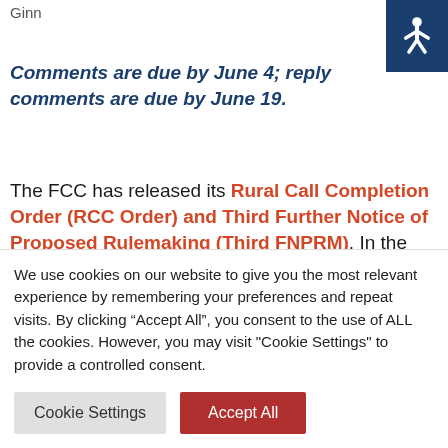Ginn
Comments are due by June 4; reply comments are due by June 19.
The FCC has released its Rural Call Completion Order (RCC Order) and Third Further Notice of Proposed Rulemaking (Third FNPRM). In the RCC Order, the FCC adopts a new rule to address rural call
We use cookies on our website to give you the most relevant experience by remembering your preferences and repeat visits. By clicking “Accept All”, you consent to the use of ALL the cookies. However, you may visit "Cookie Settings" to provide a controlled consent.